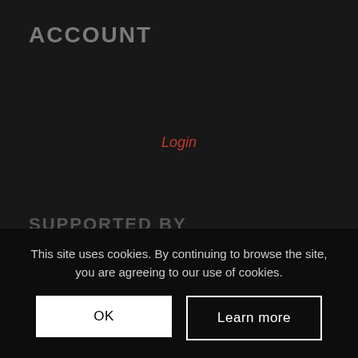ACCOUNT
Login
SUPPORTED BY
This site uses cookies. By continuing to browse the site, you are agreeing to our use of cookies.
OK
Learn more